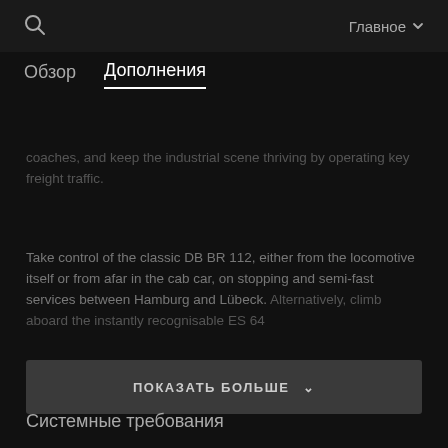Главное
Обзор   Дополнения
coaches, and keep the industrial scene thriving by operating key freight traffic.
Take control of the classic DB BR 112, either from the locomotive itself or from afar in the cab car, on stopping and semi-fast services between Hamburg and Lübeck. Alternatively, climb aboard the instantly recognisable ES 64
ПОКАЗАТЬ БОЛЬШЕ
Системные требования